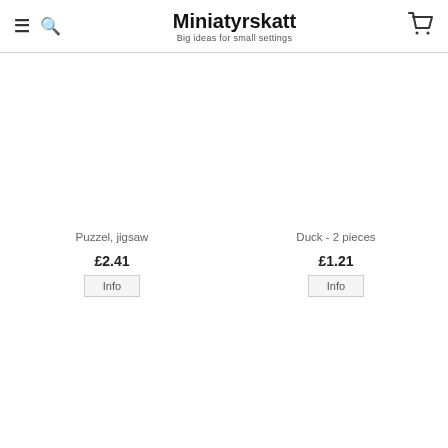Miniatyrskatt — Big ideas for small settings
Puzzel, jigsaw
£2.41
Info
Duck - 2 pieces
£1.21
Info